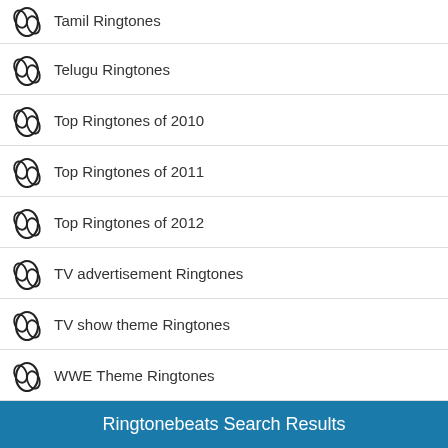Tamil Ringtones
Telugu Ringtones
Top Ringtones of 2010
Top Ringtones of 2011
Top Ringtones of 2012
TV advertisement Ringtones
TV show theme Ringtones
WWE Theme Ringtones
Ringtonebeats Search Results
Searched Keyword: laal ishique
You Tube Results: "Suittera Laal Rang Da" | Official Full Video | ft' Dharmendra, Sunny Deol, Bobby Deol | HD 1080p